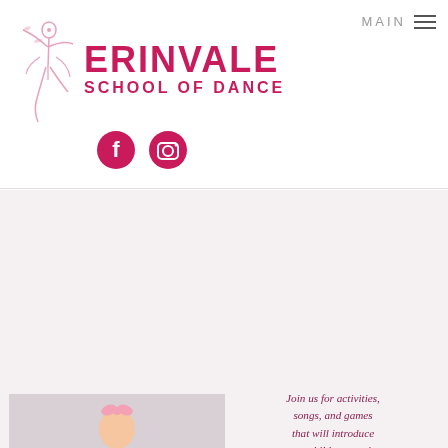[Figure (logo): Erinvale School of Dance logo with pink ballet dancer silhouette and bold pink text reading ERINVALE SCHOOL OF DANCE]
[Figure (illustration): Two circular social media icons: Facebook (f) and Instagram (camera) in dark pink/magenta color]
MAIN
[Figure (photo): Young girl in pink ballet tutu and leotard posing with arms outstretched, photo on light grey background]
Join us for activities, songs, and games that will introduce your child to creative movement, singing, and dancing!
WEDNESDAYS 10-10:45AM
AGES 2-4
10 WEEKS: SEPT 14 - NOV 16